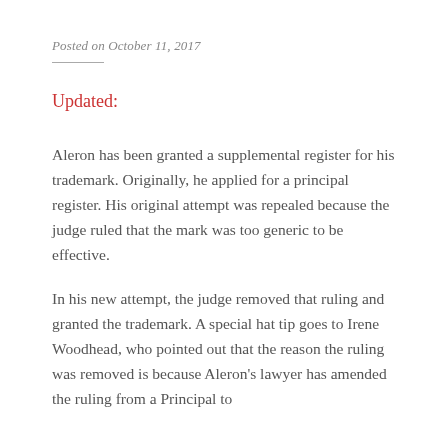Posted on October 11, 2017
Updated:
Aleron has been granted a supplemental register for his trademark.  Originally, he applied for a principal register.  His original attempt was repealed because the judge ruled that the mark was too generic to be effective.
In his new attempt, the judge removed that ruling and granted the trademark.  A special hat tip goes to Irene Woodhead, who pointed out that the reason the ruling was removed is because Aleron's lawyer has amended the ruling from a Principal to